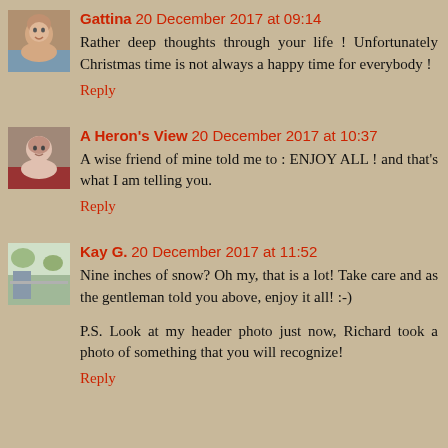[Figure (photo): Small avatar photo of Gattina, appears to be an elderly person]
Gattina 20 December 2017 at 09:14
Rather deep thoughts through your life ! Unfortunately Christmas time is not always a happy time for everybody !
Reply
[Figure (photo): Small avatar photo of A Heron's View, appears to be an older person in red]
A Heron's View 20 December 2017 at 10:37
A wise friend of mine told me to : ENJOY ALL ! and that's what I am telling you.
Reply
[Figure (photo): Small avatar photo of Kay G., outdoor scene with trees]
Kay G. 20 December 2017 at 11:52
Nine inches of snow? Oh my, that is a lot! Take care and as the gentleman told you above, enjoy it all! :-)
P.S. Look at my header photo just now, Richard took a photo of something that you will recognize!
Reply